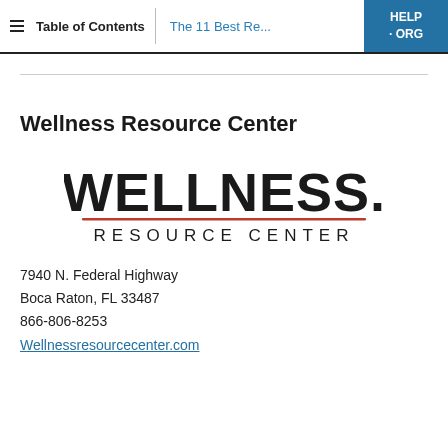Table of Contents  |  The 11 Best Re...  HELP · ORG
Wellness Resource Center
[Figure (logo): Wellness Resource Center logo: large bold text 'WELLNESS.' with a red/brown decorative underline, and below it 'RESOURCE CENTER' in spaced caps]
7940 N. Federal Highway
Boca Raton, FL 33487
866-806-8253
Wellnessresourcecenter.com